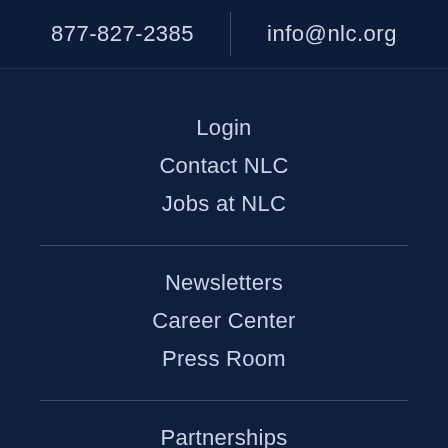877-827-2385
info@nlc.org
Login
Contact NLC
Jobs at NLC
Newsletters
Career Center
Press Room
Partnerships
NLC Programs